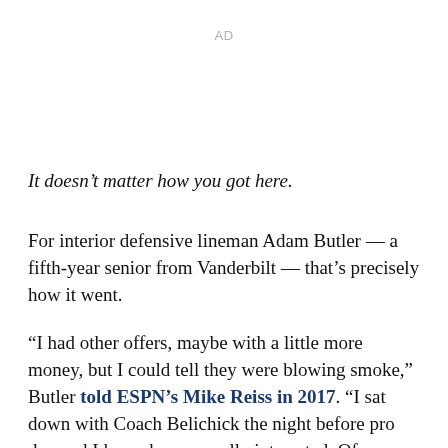AD
It doesn’t matter how you got here.
For interior defensive lineman Adam Butler — a fifth-year senior from Vanderbilt — that’s precisely how it went.
“I had other offers, maybe with a little more money, but I could tell they were blowing smoke,” Butler told ESPN’s Mike Reiss in 2017. “I sat down with Coach Belichick the night before pro day and I knew he was really interested. Of course, he was there to see Zach